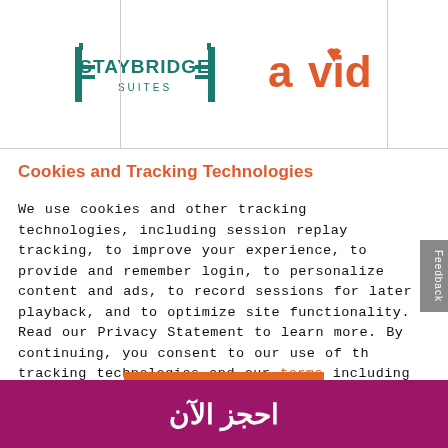[Figure (logo): Staybridge Suites logo (teal/green colors) and Avid Hotels logo (orange/red colors) side by side]
Cookies and Tracking Technologies
We use cookies and other tracking technologies, including session replay tracking, to improve your experience, to provide and remember login, to personalize content and ads, to record sessions for later playback, and to optimize site functionality. Read our Privacy Statement to learn more. By continuing, you consent to our use of the tracking technologies and our terms including important waivers. To learn more about the trackers on our site and change your preferences, .View Settings
[Figure (other): Orange ACCEPT button]
احجز الآن